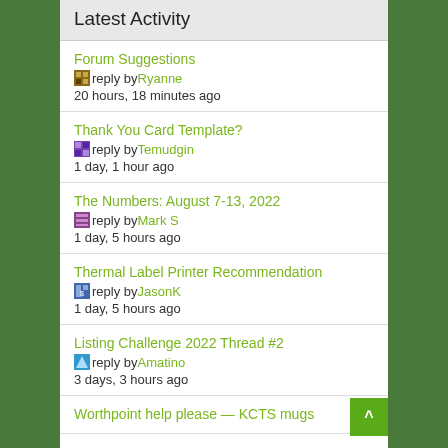Latest Activity
Forum Suggestions
reply by Ryanne
20 hours, 18 minutes ago
Thank You Card Template?
reply by Temudgin
1 day, 1 hour ago
The Numbers: August 7-13, 2022
reply by Mark S
1 day, 5 hours ago
Thermal Label Printer Recommendation
reply by JasonK
1 day, 5 hours ago
Listing Challenge 2022 Thread #2
reply by Amatino
3 days, 3 hours ago
Worthpoint help please — KCTS mugs